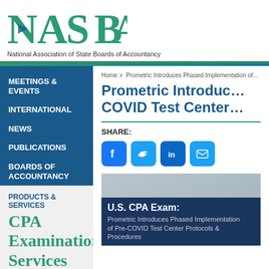[Figure (logo): NASBA logo - National Association of State Boards of Accountancy green serif wordmark]
National Association of State Boards of Accountancy
MEETINGS & EVENTS
INTERNATIONAL
NEWS
PUBLICATIONS
BOARDS OF ACCOUNTANCY
PRODUCTS & SERVICES
CPA Examination Services
Home > Prometric Introduces Phased Implementation of...
Prometric Introduces COVID Test Center...
SHARE:
[Figure (screenshot): Social share icons: Facebook, Twitter, LinkedIn, Email]
[Figure (photo): U.S. CPA Exam promotional image with text: U.S. CPA Exam: Prometric Introduces Phased Implementation of Pre-COVID Test Center Protocols & Procedures]